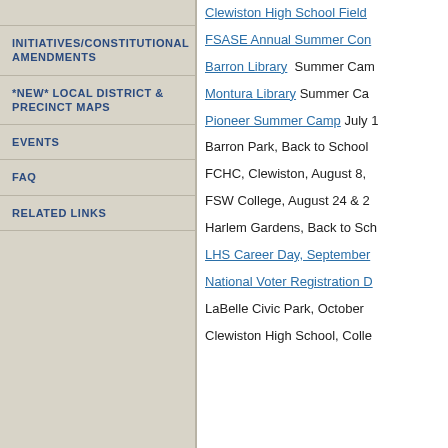INITIATIVES/CONSTITUTIONAL AMENDMENTS
*NEW* LOCAL DISTRICT & PRECINCT MAPS
EVENTS
FAQ
RELATED LINKS
Clewiston High School Field
FSASE Annual Summer Con
Barron Library  Summer Cam
Montura Library  Summer Ca
Pioneer Summer Camp July
Barron Park, Back to School
FCHC, Clewiston, August 8,
FSW College, August 24 & 2
Harlem Gardens, Back to Sch
LHS Career Day, September
National Voter Registration D
LaBelle Civic Park, October
Clewiston High School, Colle